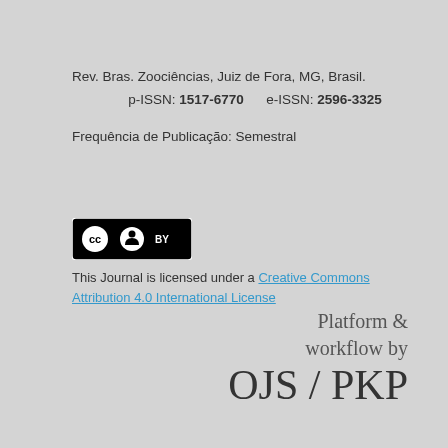Rev. Bras. Zoociências, Juiz de Fora, MG, Brasil.
p-ISSN: 1517-6770   e-ISSN: 2596-3325
Frequência de Publicação: Semestral
[Figure (logo): Creative Commons BY license badge — black rectangle with CC and person icons and BY text]
This Journal is licensed under a Creative Commons Attribution 4.0 International License
Platform & workflow by OJS / PKP